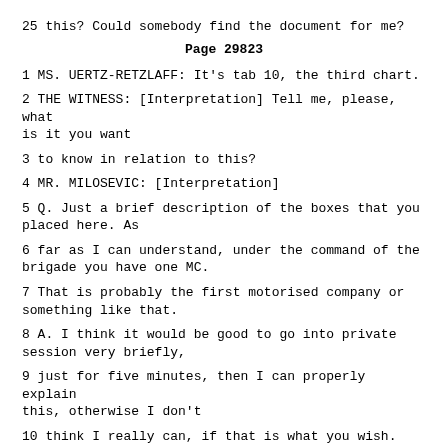25 this? Could somebody find the document for me?
Page 29823
1 MS. UERTZ-RETZLAFF: It's tab 10, the third chart.
2 THE WITNESS: [Interpretation] Tell me, please, what is it you want
3 to know in relation to this?
4 MR. MILOSEVIC: [Interpretation]
5 Q. Just a brief description of the boxes that you placed here. As
6 far as I can understand, under the command of the brigade you have one MC.
7 That is probably the first motorised company or something like that.
8 A. I think it would be good to go into private session very briefly,
9 just for five minutes, then I can properly explain this, otherwise I don't
10 think I really can, if that is what you wish.
11 [Private session]